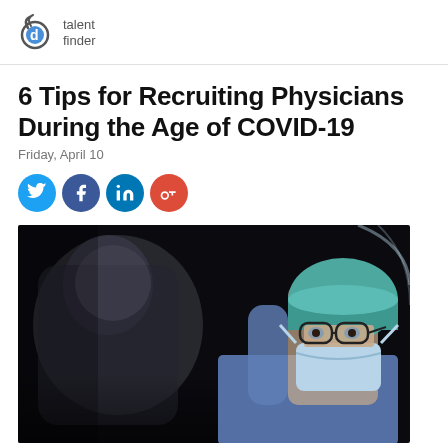talent finder
6 Tips for Recruiting Physicians During the Age of COVID-19
Friday, April 10
[Figure (infographic): Social media share buttons: Twitter, Facebook, LinkedIn, Google+]
[Figure (photo): A physician or surgeon wearing a surgical cap, mask, and glasses, working in an operating room environment. Dark background with medical lighting visible.]